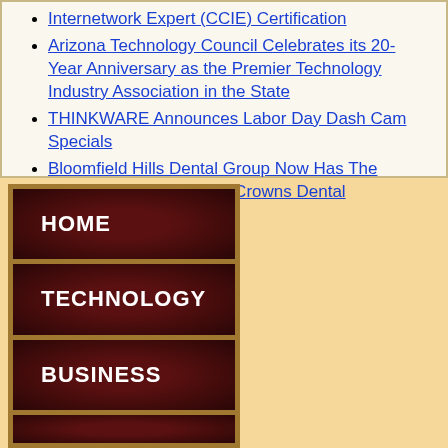Internetwork Expert (CCIE) Certification
Arizona Technology Council Celebrates its 20-Year Anniversary as the Premier Technology Industry Association in the State
THINKWARE Announces Labor Day Dash Cam Specials
Bloomfield Hills Dental Group Now Has The E4D/Planmeca Ceramic Crowns Dental Technology!
[Figure (other): Navigation menu with dark red/maroon buttons on a tan/gold background showing HOME, TECHNOLOGY, and BUSINESS navigation links]